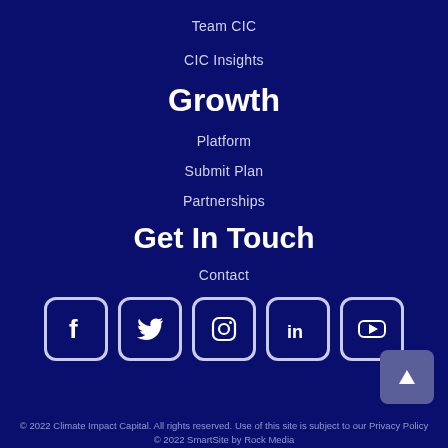Team CIC
CIC Insights
Growth
Platform
Submit Plan
Partnerships
Get In Touch
Contact
[Figure (illustration): Row of five social media icons: Facebook, Twitter, Instagram, LinkedIn, YouTube — white icons in rounded square outlines on dark blue background]
© 2022 Climate Impact Capital. All rights reserved. Use of this site is subject to our Privacy Policy
© 2022 SmartSite by Rock Media